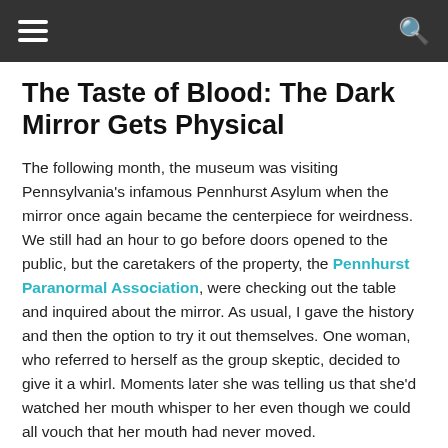[hamburger menu] [search icon]
The Taste of Blood: The Dark Mirror Gets Physical
The following month, the museum was visiting Pennsylvania's infamous Pennhurst Asylum when the mirror once again became the centerpiece for weirdness. We still had an hour to go before doors opened to the public, but the caretakers of the property, the Pennhurst Paranormal Association, were checking out the table and inquired about the mirror. As usual, I gave the history and then the option to try it out themselves. One woman, who referred to herself as the group skeptic, decided to give it a whirl. Moments later she was telling us that she'd watched her mouth whisper to her even though we could all vouch that her mouth had never moved.
Throughout the rest of the night, the reports from gazers were twice as creepy as before, if not more-so. One particularly large and